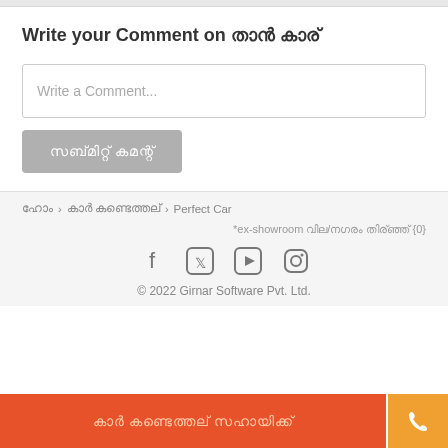Write your Comment on ██████ ███
Write a Comment...
████████ ████████
███ › █████ ███ ██████████ › Perfect Car
*ex-showroom █████/███ █████ {0}
[Figure (other): Social media icons: Facebook, Twitter, YouTube, Instagram]
© 2022 Girnar Software Pvt. Ltd.
██████ ██████████ █████████
📞